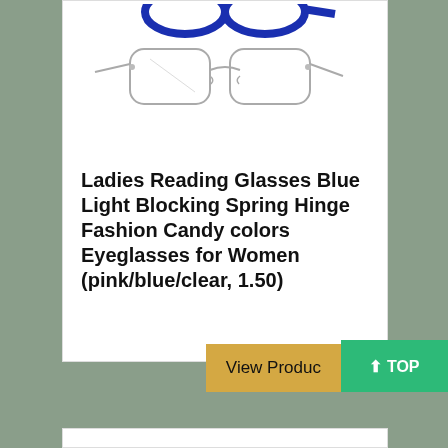[Figure (photo): Product photo of clear/transparent reading glasses frames shown from front view, with blue logo/brand mark partially visible at top]
Ladies Reading Glasses Blue Light Blocking Spring Hinge Fashion Candy colors Eyeglasses for Women (pink/blue/clear, 1.50)
View Produc
⬆ TOP